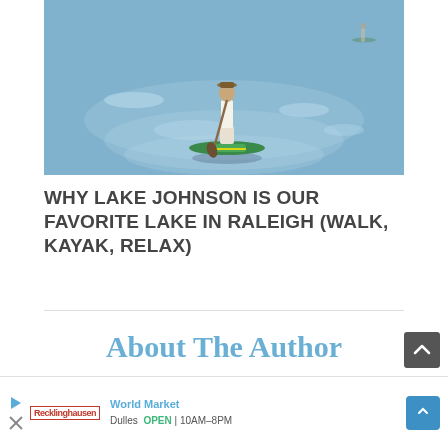[Figure (photo): Person standing on a paddleboard on a calm lake with reflective water; another paddleboarder visible in the background]
WHY LAKE JOHNSON IS OUR FAVORITE LAKE IN RALEIGH (WALK, KAYAK, RELAX)
About The Author
[Figure (infographic): Advertisement bar showing World Market navigation directions, with a play button, close button, Recklinghausen logo, store name World Market, location Dulles, status OPEN, hours 10AM-8PM, and a blue navigation diamond icon]